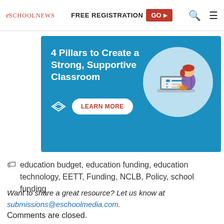eSchool News | FREE REGISTRATION GO ▶
[Figure (illustration): Advertisement banner for '4 Pillars to Create a Strong, Supportive Classroom' with a LEARN MORE button on a blue background, featuring an illustration of a person at a laptop.]
education budget, education funding, education technology, EETT, Funding, NCLB, Policy, school funding
Want to share a great resource? Let us know at submissions@eschoolmedia.com.
Comments are closed.